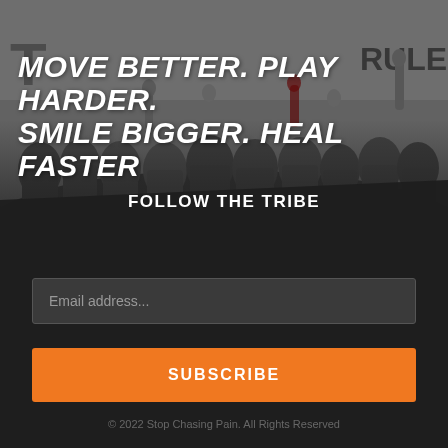[Figure (photo): Large group photo of people with fists raised in a gym/fitness center setting, dark overlay, with partial text 'RULE' visible on wall banner]
MOVE BETTER. PLAY HARDER. SMILE BIGGER. HEAL FASTER
FOLLOW THE TRIBE
Email address...
SUBSCRIBE
© 2022 Stop Chasing Pain. All Rights Reserved